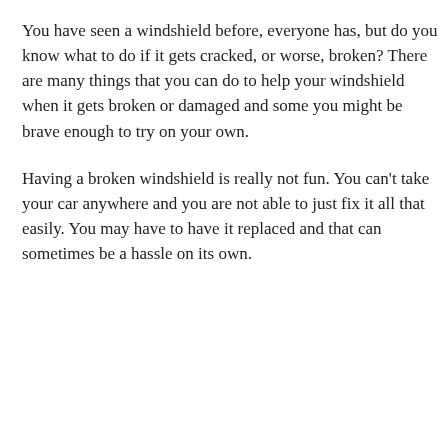You have seen a windshield before, everyone has, but do you know what to do if it gets cracked, or worse, broken? There are many things that you can do to help your windshield when it gets broken or damaged and some you might be brave enough to try on your own.
Having a broken windshield is really not fun. You can't take your car anywhere and you are not able to just fix it all that easily. You may have to have it replaced and that can sometimes be a hassle on its own.